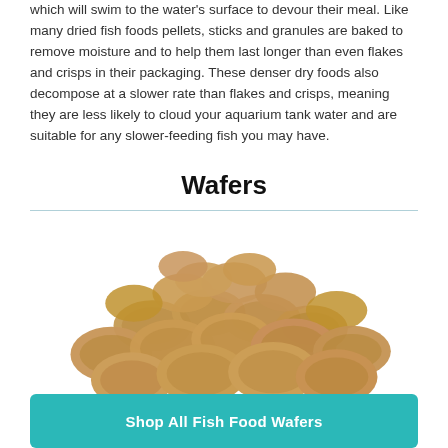which will swim to the water's surface to devour their meal. Like many dried fish foods pellets, sticks and granules are baked to remove moisture and to help them last longer than even flakes and crisps in their packaging. These denser dry foods also decompose at a slower rate than flakes and crisps, meaning they are less likely to cloud your aquarium tank water and are suitable for any slower-feeding fish you may have.
Wafers
[Figure (photo): A pile of brown fish food wafers/tablets heaped together on a white background]
Shop All Fish Food Wafers